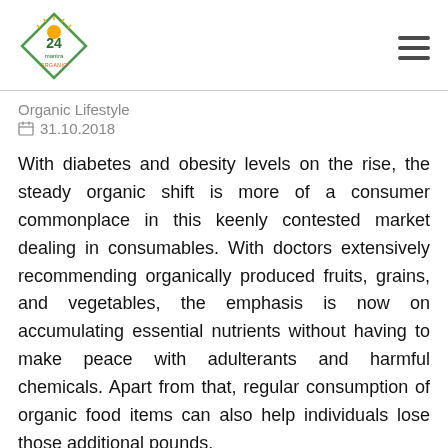24 Mantra Organic [logo] [hamburger menu]
Organic Lifestyle
31.10.2018
With diabetes and obesity levels on the rise, the steady organic shift is more of a consumer commonplace in this keenly contested market dealing in consumables. With doctors extensively recommending organically produced fruits, grains, and vegetables, the emphasis is now on accumulating essential nutrients without having to make peace with adulterants and harmful chemicals. Apart from that, regular consumption of organic food items can also help individuals lose those additional pounds.
Is the Organic Shift Validated?